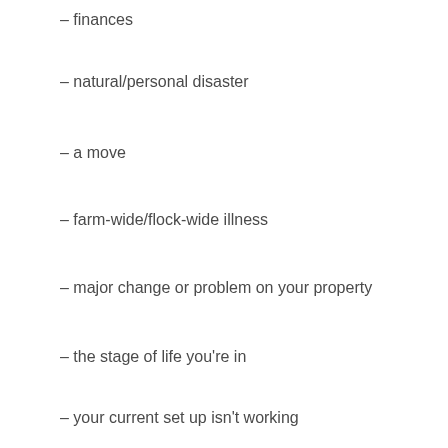– finances
– natural/personal disaster
– a move
– farm-wide/flock-wide illness
– major change or problem on your property
– the stage of life you're in
– your current set up isn't working